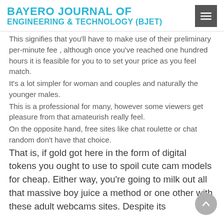BAYERO JOURNAL OF ENGINEERING & TECHNOLOGY (BJET)
This signifies that you'll have to make use of their preliminary per-minute fee , although once you've reached one hundred hours it is feasible for you to to set your price as you feel match.
It's a lot simpler for woman and couples and naturally the younger males.
This is a professional for many, however some viewers get pleasure from that amateurish really feel.
On the opposite hand, free sites like chat roulette or chat random don't have that choice.
That is, if gold got here in the form of digital tokens you ought to use to spoil cute cam models for cheap. Either way, you're going to milk out all that massive boy juice a method or one other with these adult webcams sites. Despite its